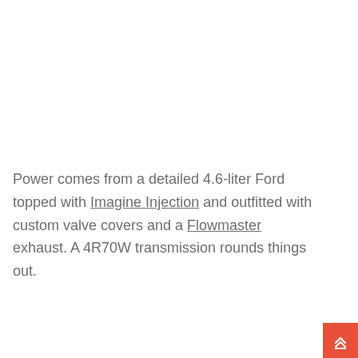Power comes from a detailed 4.6-liter Ford topped with Imagine Injection and outfitted with custom valve covers and a Flowmaster exhaust. A 4R70W transmission rounds things out.